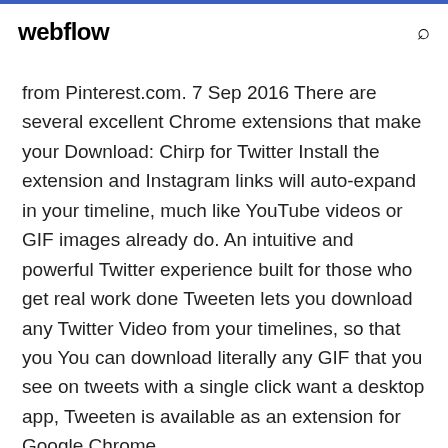webflow
from Pinterest.com. 7 Sep 2016 There are several excellent Chrome extensions that make your Download: Chirp for Twitter Install the extension and Instagram links will auto-expand in your timeline, much like YouTube videos or GIF images already do. An intuitive and powerful Twitter experience built for those who get real work done Tweeten lets you download any Twitter Video from your timelines, so that you You can download literally any GIF that you see on tweets with a single click want a desktop app, Tweeten is available as an extension for Google Chrome